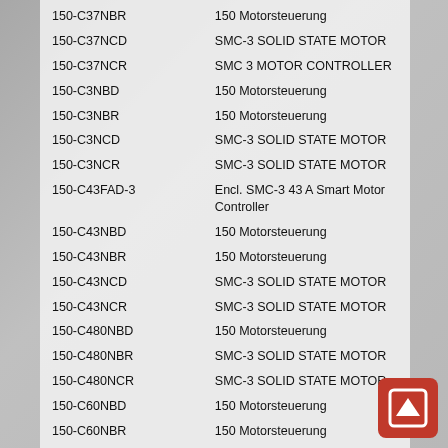| Part Number | Description |
| --- | --- |
| 150-C37NBR | 150 Motorsteuerung |
| 150-C37NCD | SMC-3 SOLID STATE MOTOR |
| 150-C37NCR | SMC 3 MOTOR CONTROLLER |
| 150-C3NBD | 150 Motorsteuerung |
| 150-C3NBR | 150 Motorsteuerung |
| 150-C3NCD | SMC-3 SOLID STATE MOTOR |
| 150-C3NCR | SMC-3 SOLID STATE MOTOR |
| 150-C43FAD-3 | Encl. SMC-3 43 A Smart Motor Controller |
| 150-C43NBD | 150 Motorsteuerung |
| 150-C43NBR | 150 Motorsteuerung |
| 150-C43NCD | SMC-3 SOLID STATE MOTOR |
| 150-C43NCR | SMC-3 SOLID STATE MOTOR |
| 150-C480NBD | 150 Motorsteuerung |
| 150-C480NBR | SMC-3 SOLID STATE MOTOR |
| 150-C480NCR | SMC-3 SOLID STATE MOTOR |
| 150-C60NBD | 150 Motorsteuerung |
| 150-C60NBR | 150 Motorsteuerung |
| 150-C60NCD | SMC-3 SOLID STATE MOTOR |
| 150-C60NCR | SMC-3 SOLID STATE MOTOR |
| 150-C84 | SMC™-3 Zubehörteil |
| 150-C84P | SMC™-3 Zubehörteil |
| 150-C85NBD | 150 Motorsteuerung |